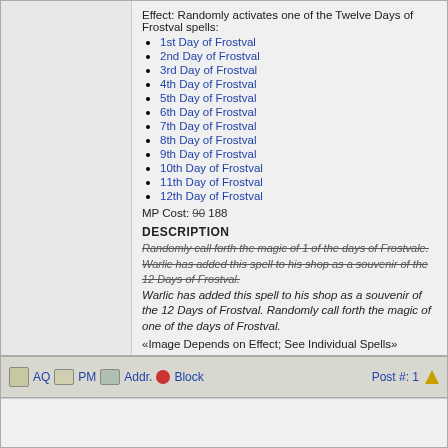Effect: Randomly activates one of the Twelve Days of Frostval spells:
1st Day of Frostval
2nd Day of Frostval
3rd Day of Frostval
4th Day of Frostval
5th Day of Frostval
6th Day of Frostval
7th Day of Frostval
8th Day of Frostval
9th Day of Frostval
10th Day of Frostval
11th Day of Frostval
12th Day of Frostval
MP Cost: 90 188
DESCRIPTION
Randomly call forth the magic of 1 of the days of Frostvale. (strikethrough)
Warlic has added this spell to his shop as a souvenir of the 12 Days of Frostval. (strikethrough)
Warlic has added this spell to his shop as a souvenir of the 12 Days of Frostval. Randomly call forth the magic of one of the days of Frostval.
«Image Depends on Effect; See Individual Spells»
Thanks to Gallant, VN 10, Alopex Lagopus and Shadows Of Death. Element from .*. .*. .*.. Third description from Blue Revenge.
< Message edited by Balu -- 7/4/2012 8:41:44 >
AQ PM Addr. Block  Post #: 1